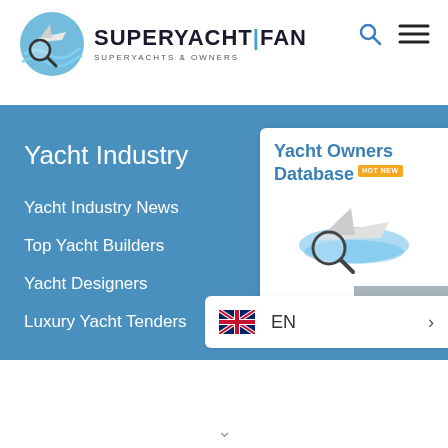[Figure (logo): SuperYachtFan logo with magnifying glass over yacht and waves icon, text reading SUPERYACHT|FAN SUPERYACHTS & OWNERS]
[Figure (screenshot): Search icon (magnifying glass) and hamburger menu icon in top right header]
Yacht Industry
Yacht Industry News
Top Yacht Builders
Yacht Designers
Luxury Yacht Tenders
[Figure (illustration): Yacht Owners Database card with HOT NEW badge, magnifying glass over yacht illustration, showing a lock/database icon]
[Figure (screenshot): Language selector showing UK flag, EN text, and chevron arrow for language selection]